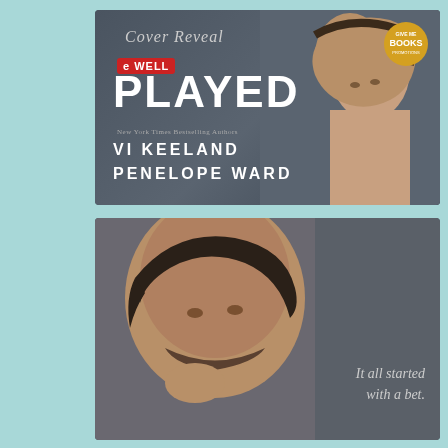[Figure (illustration): Top book cover reveal image for 'Well Played' by Vi Keeland and Penelope Ward. Dark gray/charcoal background with white bold text reading 'PLAYED' and a red badge reading 'WELL'. Script text 'Cover Reveal' at top. Authors listed as 'VI KEELAND / PENELOPE WARD' with 'New York Times Bestselling Authors' subtitle. Give Me Books logo badge in top right corner. Man with dark hair posing on right side.]
[Figure (photo): Close-up photo of same attractive dark-haired man with beard, looking intensely at camera. Dark gray background. Text reads 'It all started with a bet.' in italic gray font on the right side.]